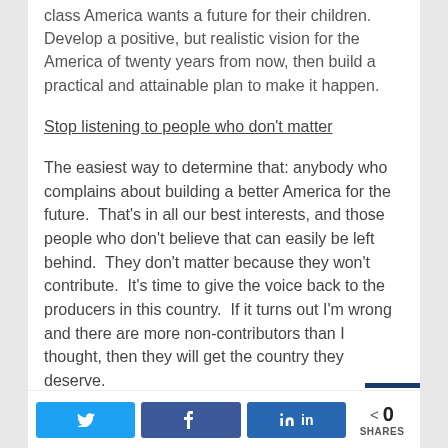class America wants a future for their children. Develop a positive, but realistic vision for the America of twenty years from now, then build a practical and attainable plan to make it happen.
Stop listening to people who don't matter
The easiest way to determine that: anybody who complains about building a better America for the future.  That's in all our best interests, and those people who don't believe that can easily be left behind.  They don't matter because they won't contribute.  It's time to give the voice back to the producers in this country.  If it turns out I'm wrong and there are more non-contributors than I thought, then they will get the country they deserve.